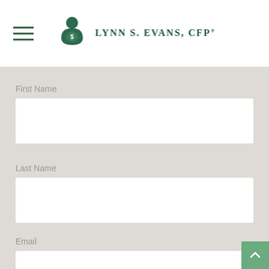Lynn S. Evans, CFP
First Name
Last Name
Email